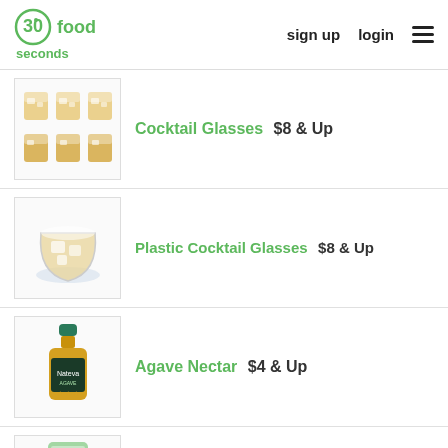30seconds food — sign up  login  ☰
Cocktail Glasses  $8 & Up
Plastic Cocktail Glasses  $8 & Up
Agave Nectar  $4 & Up
Blenders  $20 & Up